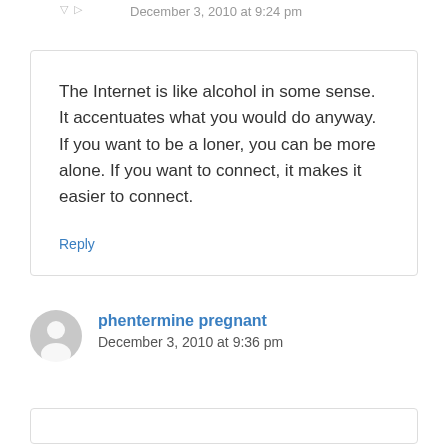December 3, 2010 at 9:24 pm
The Internet is like alcohol in some sense. It accentuates what you would do anyway. If you want to be a loner, you can be more alone. If you want to connect, it makes it easier to connect.
Reply
phentermine pregnant
December 3, 2010 at 9:36 pm